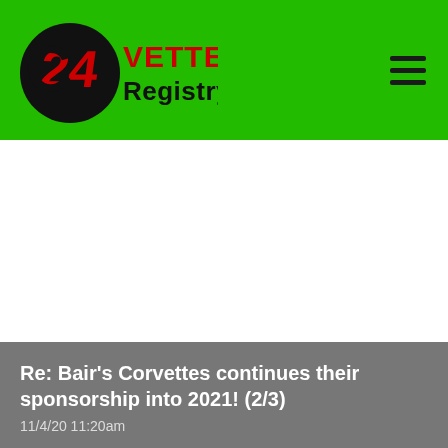C24 VETTE Registry
Re: Bair's Corvettes continues their sponsorship into 2021! (2/3)
11/4/20 11:20am